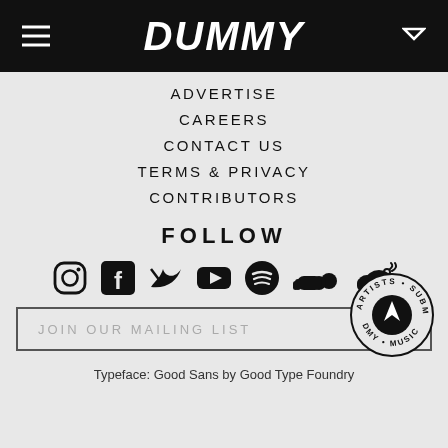DUMMY
ADVERTISE
CAREERS
CONTACT US
TERMS & PRIVACY
CONTRIBUTORS
FOLLOW
[Figure (illustration): Social media icons: Instagram, Facebook, Twitter, YouTube, Spotify, SoundCloud, and another cloud/radio icon]
JOIN OUR MAILING LIST
[Figure (illustration): Circular badge with text 'ARTISTS • SUBMIT MUSIC • DMY' and an upward arrow icon]
Typeface: Good Sans by Good Type Foundry